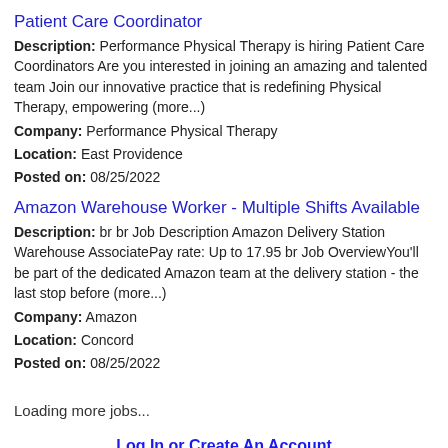Patient Care Coordinator
Description: Performance Physical Therapy is hiring Patient Care Coordinators Are you interested in joining an amazing and talented team Join our innovative practice that is redefining Physical Therapy, empowering (more...)
Company: Performance Physical Therapy
Location: East Providence
Posted on: 08/25/2022
Amazon Warehouse Worker - Multiple Shifts Available
Description: br br Job Description Amazon Delivery Station Warehouse AssociatePay rate: Up to 17.95 br Job OverviewYou'll be part of the dedicated Amazon team at the delivery station - the last stop before (more...)
Company: Amazon
Location: Concord
Posted on: 08/25/2022
Loading more jobs...
Log In or Create An Account